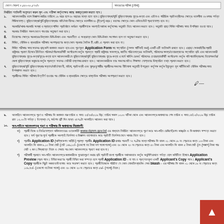| বেতন স্কেল: ৮,৫৫০-২০,৫৭০/০ | সমন্বয়ের পরীক্ষা (মৌখা) |
| --- | --- |
নির্ধারিত শর্তাবলী অনুসরণ করুন মূল এবং পরীক্ষা কর্তৃপক্ষের কাছে জমানুপ্রদান করতে হবে।
১. আবেদনকারীর বয়স বিজ্ঞাপন জারির তারিখে ১৯ বছর হলে ৩০ বছরের মধ্যে হতে হবে। মুক্তিযোদ্ধা/পুর্বি মুক্তিযোদ্ধার পুত্র-কন্যা এবং এতিম ও শারীরিক প্রতিবন্ধীদের ক্ষেত্রে বয়সসীমা ৩২ বৎসর পর্যন্ত শিথিলযোগ্য।
২. সরকারি/আধা-সরকারি সংস্থা ও স্বায়ত্তশাসিত প্রতিষ্ঠানে কর্মরত প্রার্থীগণকে অবশ্যই যথাযথ কর্তৃপক্ষের অনুমতি নিয়ে আবেদন করতে হবে।
৩. সরকার নির্ধারিত সকল বেতন পাওয়ার অনুসরণ করা হবে।
8. নিয়োগের ক্ষেত্রে সরকারের বিদ্যমান বিধি-বিধান এবং পরবর্তীতে এ সংক্রান্ত কোন বিধি-বিধান সংশোধন হলে তা অনুসরণ করতে হবে।
৫. লিখিত, মৌখিক ও ব্যবহারিক পরীক্ষায় অংশগ্রহণের জন্য কোন প্রকার দৈনিক টি.এ/ডি.এ প্রদান করা হবে না।
৬. লিখিত পরীক্ষার সময় সনদের ছাড়কপি জমাদান করতে হবে এবং পূরণকৃত Application Form সহ সত্যায়িত একটি এটি ফটোকপি রাখতে হবে।
৭. মুক্তিযোদ্ধা/পুর্বি মুক্তিযোদ্ধার সন্তান/নাতি/নাতনী, মহিলা, প্রতিবন্ধী এবং ক্ষুদ্রনৃগোষ্ঠীর প্রার্থীদের সকলের নীতিমালা অনুযায়ী উপযুক্ত কর্তৃপক্ষ কর্তৃক ইস্যুকৃত মূল সার্টিফিকেট মৌখিক পরীক্ষার সময় উপস্থাপন করতে হবে।
৮. প্রার্থীদের লিখিত পরীক্ষায় উত্তীর্ণ হওয়ার পর মৌখিক ও ব্যবহারিক ক্ষেত্রে বাস্তবিক পরীক্ষায় অংশগ্রহণ করতে হবে।
৯. অনলাইনে আবেদনপত্র পূরণ ও পরীক্ষার ফি জমাদান শুরু তারিখ ও সময় ২২/৩০/২০১৯ খ্রি: তারিখ সকাল ১০.০০ ঘটিকা থেকে এবং আবেদনপত্র জমাদানের শেষ তারিখ ও সময় ১৪/১২/২০১৯ খ্রি: তারিখ রাত ১২.০০ টা পর্যন্ত।
১০. অন-লাইনে আবেদনপত্র পূরণ ও পরীক্ষার ফি জমাদানের নিয়মাবলী: ক) প্রার্থী নিজে ও নির্ভরযোগ্যতা অধিদফতরের ওয়েবসাইট www.dgnm.gov.bd এর মাধ্যমে নির্ধারিত আবেদনপত্র পূরণ করে অন-লাইন রেজিস্ট্রেশন কার্য্ক্রম ও ফি জমাদান সম্পন্ন করতে হবে। খ) প্রার্থীর Application ID প্রাপ্ত প্রার্থীর Application ID রাখার পরবর্তী ৭২ ঘণ্টার মধ্যে পরীক্ষার ফি বাবদ ১০০ টাকা। গ) Application Preview, Application ID, Applicant's Copy, bkash সংক্রান্ত নিয়মাবলী।